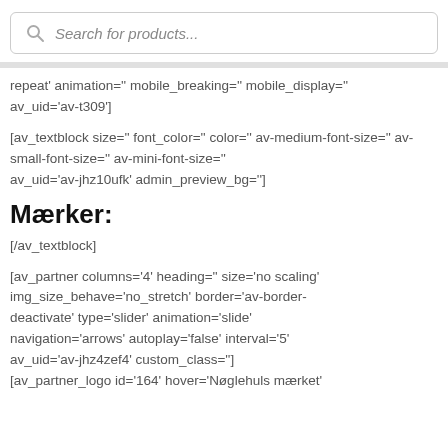[Figure (screenshot): Search bar with magnifying glass icon and placeholder text 'Search for products...']
repeat' animation='' mobile_breaking='' mobile_display='' av_uid='av-t309']
[av_textblock size='' font_color='' color='' av-medium-font-size='' av-small-font-size='' av-mini-font-size='' av_uid='av-jhz10ufk' admin_preview_bg='']
Mærker:
[/av_textblock]
[av_partner columns='4' heading='' size='no scaling' img_size_behave='no_stretch' border='av-border-deactivate' type='slider' animation='slide' navigation='arrows' autoplay='false' interval='5' av_uid='av-jhz4zef4' custom_class=''] [av_partner_logo id='164' hover='Nøglehuls mærket'